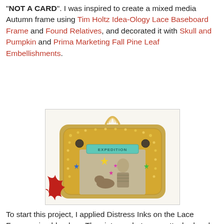"NOT A CARD". I was inspired to create a mixed media Autumn frame using Tim Holtz Idea-Ology Lace Baseboard Frame and Found Relatives, and decorated it with Skull and Pumpkin and Prima Marketing Fall Pine Leaf Embellishments.
[Figure (photo): A decorated autumn/Halloween mixed media frame (Tim Holtz Lace Baseboard Frame) with gold ornate border, a teal label reading 'EXPEDITION', colorful star embellishments, a vintage photo of a boy and a dog inside, red maple leaf decoration on the lower left, and a gold ribbon/twine hanger at the top.]
To start this project, I applied Distress Inks on the Lace Frame using blenders. The vintage photo was attached under the frame and I arranged the fall leaves and pumpkins around the photo on the frame.